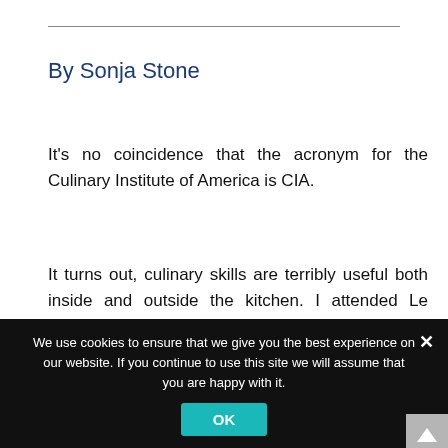By Sonja Stone
It's no coincidence that the acronym for the Culinary Institute of America is CIA.
It turns out, culinary skills are terribly useful both inside and outside the kitchen. I attended Le Cordon Bleu, and many of the lessons I learned are equally applicable to espionage.
We use cookies to ensure that we give you the best experience on our website. If you continue to use this site we will assume that you are happy with it.